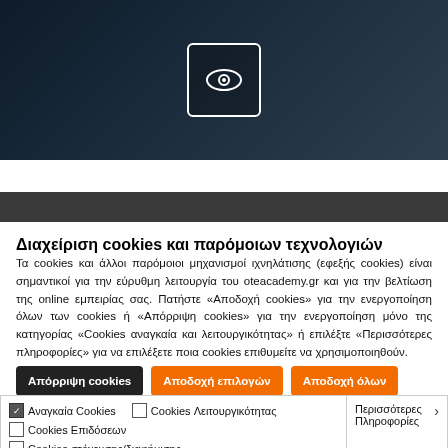[Figure (screenshot): Dark background banner image with an eye icon inside a white-bordered box, centered]
Διαχείριση cookies και παρόμοιων τεχνολογιών
Τα cookies και άλλοι παρόμοιοι μηχανισμοί ιχνηλάτισης (εφεξής cookies) είναι σημαντικοί για την εύρυθμη λειτουργία του oteacademy.gr και για την βελτίωση της online εμπειρίας σας. Πατήστε «Αποδοχή cookies» για την ενεργοποίηση όλων των cookies ή «Απόρριψη cookies» για την ενεργοποίηση μόνο της κατηγορίας «Cookies αναγκαία και λειτουργικότητας» ή επιλέξτε «Περισσότερες πληροφορίες» για να επιλέξετε ποια cookies επιθυμείτε να χρησιμοποιηθούν.
Απόρριψη cookies | Αποδοχή επιλογών | Αποδοχή όλων
| ☑ Αναγκαία Cookies | ☐ Cookies Λειτουργικότητας | Περισσότερες Πληροφορίες |
| ☐ Cookies Επιδόσεων |  |  |
| ☐ Cookies στόχευσης/διαφήμισης |  |  |